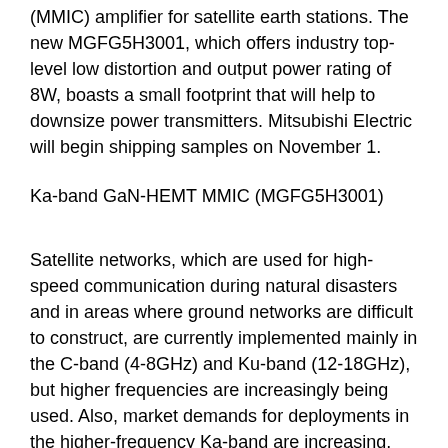(MMIC) amplifier for satellite earth stations. The new MGFG5H3001, which offers industry top-level low distortion and output power rating of 8W, boasts a small footprint that will help to downsize power transmitters. Mitsubishi Electric will begin shipping samples on November 1.
Ka-band GaN-HEMT MMIC (MGFG5H3001)
Satellite networks, which are used for high-speed communication during natural disasters and in areas where ground networks are difficult to construct, are currently implemented mainly in the C-band (4-8GHz) and Ku-band (12-18GHz), but higher frequencies are increasingly being used. Also, market demands for deployments in the higher-frequency Ka-band are increasing. Mitsubishi Electric's new Ka-band GaN-HEMT MMIC will help meet the growing demand for higher frequency deployments, as well as facilitate the development of satellite communications